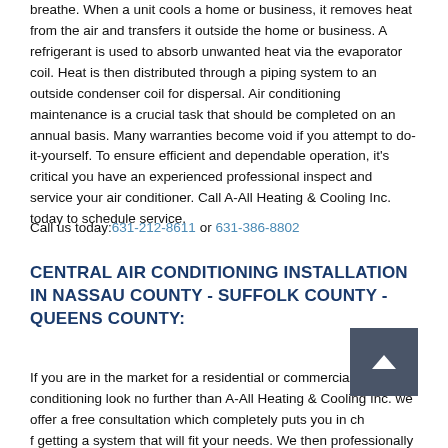breathe. When a unit cools a home or business, it removes heat from the air and transfers it outside the home or business. A refrigerant is used to absorb unwanted heat via the evaporator coil. Heat is then distributed through a piping system to an outside condenser coil for dispersal. Air conditioning maintenance is a crucial task that should be completed on an annual basis. Many warranties become void if you attempt to do-it-yourself. To ensure efficient and dependable operation, it's critical you have an experienced professional inspect and service your air conditioner. Call A-All Heating & Cooling Inc. today to schedule service.
Call us today: 631-212-8611 or 631-386-8802
CENTRAL AIR CONDITIONING INSTALLATION IN NASSAU COUNTY - SUFFOLK COUNTY - QUEENS COUNTY:
If you are in the market for a residential or commercial central air conditioning look no further than A-All Heating & Cooling Inc. We offer a free consultation which completely puts you in charge of getting a system that will fit your needs. We then professionally design and layout the system to ensure the size of the system is